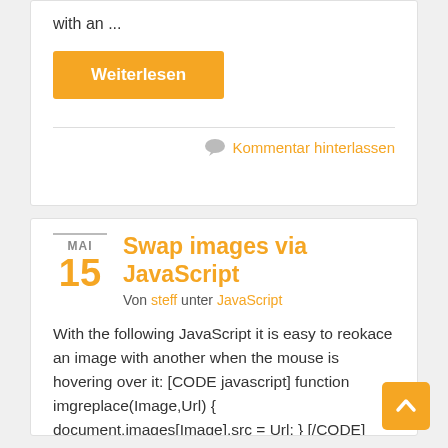with an ...
Weiterlesen
Kommentar hinterlassen
Swap images via JavaScript
Von steff unter JavaScript
MAI 15
With the following JavaScript it is easy to reokace an image with another when the mouse is hovering over it: [CODE javascript] function imgreplace(Image,Url) { document.images[Image].src = Url; } [/CODE] The HTML code for the image looks like this: [CODE HTML] [/CODE] The normal.png is replaced with hover.png when the mouse hovers over the image.